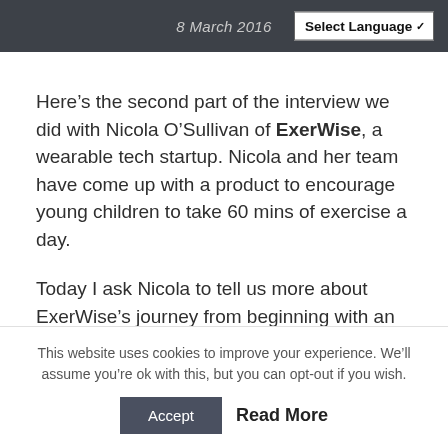8 March 2016  Select Language
Here’s the second part of the interview we did with Nicola O’Sullivan of ExerWise, a wearable tech startup. Nicola and her team have come up with a product to encourage young children to take 60 mins of exercise a day.
Today I ask Nicola to tell us more about ExerWise’s journey from beginning with an arduino to moving towards a smaller microcontroller.
[Figure (photo): Partial image strip visible at bottom of main content area]
This website uses cookies to improve your experience. We’ll assume you’re ok with this, but you can opt-out if you wish.
Accept  Read More